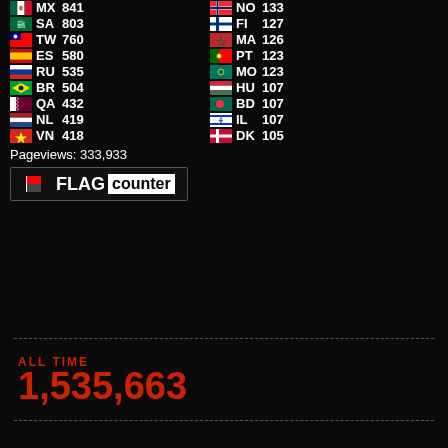[Figure (infographic): Flag counter widget showing country flags with codes and view counts. Left column: MX 841, SA 803, TW 760, ES 580, RU 535, BR 504, QA 432, NL 419, VN 418. Right column: NO 133, FI 127, MA 126, PT 123, MO 123, HU 107, BD 107, IL 107, DK 105. Pageviews: 333,933. FLAG counter logo below.]
ALL TIME
1,535,663
[Figure (logo): Powered By Blogger orange badge]
[Figure (logo): Valid Atom badge]